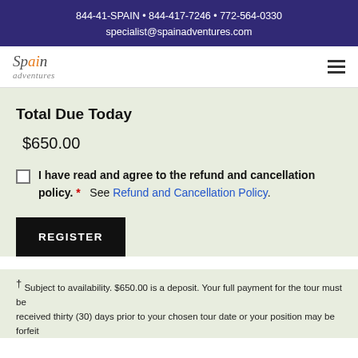844-41-SPAIN • 844-417-7246 • 772-564-0330
specialist@spainadventures.com
[Figure (logo): Spain Adventures logo with italic stylized text]
Total Due Today
$650.00
I have read and agree to the refund and cancellation policy. * See Refund and Cancellation Policy.
REGISTER
† Subject to availability. $650.00 is a deposit. Your full payment for the tour must be received thirty (30) days prior to your chosen tour date or your position may be forfeit